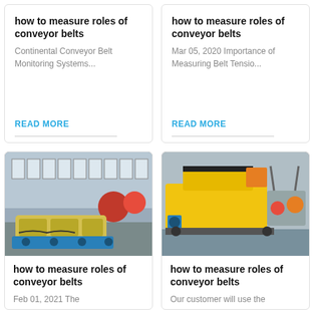how to measure roles of conveyor belts
Continental Conveyor Belt Monitoring Systems...
READ MORE
how to measure roles of conveyor belts
Mar 05, 2020 Importance of Measuring Belt Tensio...
READ MORE
[Figure (photo): Industrial factory interior with yellow conveyor belt machinery and red cylindrical tanks on a concrete floor]
how to measure roles of conveyor belts
Feb 01, 2021 The
[Figure (photo): Outdoor yard with large yellow and black industrial crushing or conveyor machinery on a cloudy day]
how to measure roles of conveyor belts
Our customer will use the